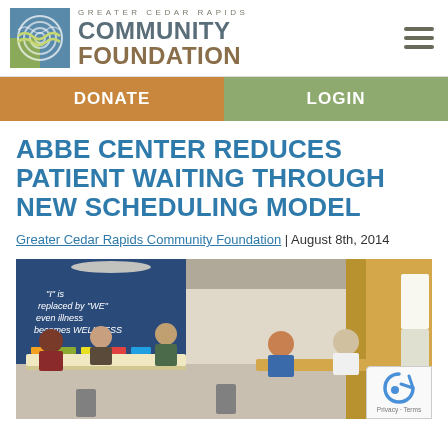[Figure (logo): Greater Cedar Rapids Community Foundation logo with spiral icon and text]
DONATE | LOGIN
ABBE CENTER REDUCES PATIENT WAITING THROUGH NEW SCHEDULING MODEL
Greater Cedar Rapids Community Foundation | August 8th, 2014
[Figure (photo): Interior room photo showing people seated around tables in what appears to be a community health center or wellness facility with a blue wall featuring text about wellness]